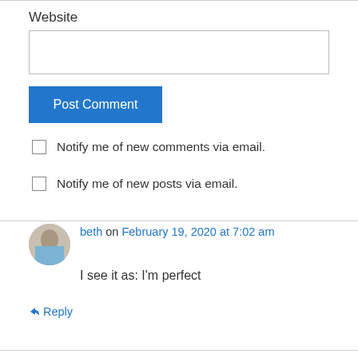Website
Post Comment
Notify me of new comments via email.
Notify me of new posts via email.
beth on February 19, 2020 at 7:02 am
I see it as: I'm perfect
↳ Reply